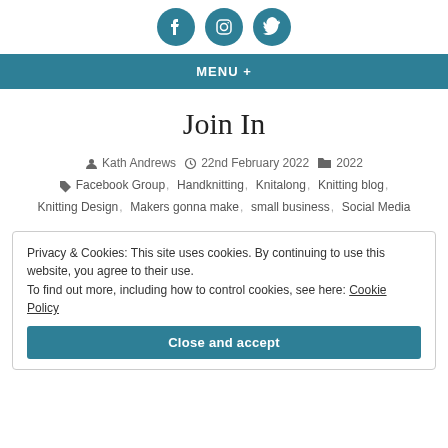[Figure (illustration): Three circular teal social media icons: Facebook, Instagram, Twitter]
MENU +
Join In
Kath Andrews  22nd February 2022  2022
Facebook Group, Handknitting, Knitalong, Knitting blog, Knitting Design, Makers gonna make, small business, Social Media
Privacy & Cookies: This site uses cookies. By continuing to use this website, you agree to their use.
To find out more, including how to control cookies, see here: Cookie Policy
Close and accept